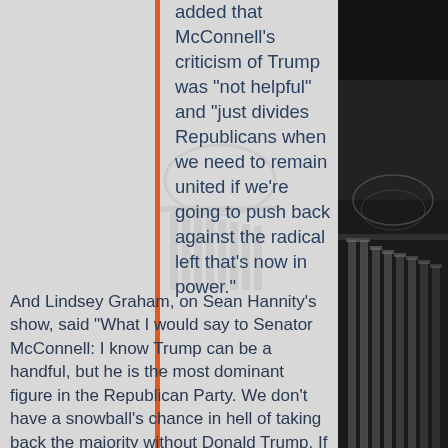added that McConnell’s criticism of Trump was “not helpful” and “just divides Republicans when we need to remain united if we’re going to push back against the radical left that’s now in power.”
And Lindsey Graham, on Sean Hannity’s show, said "What I would say to Senator McConnell: I know Trump can be a handful, but he is the most dominant figure in the Republican Party. We don’t have a snowball’s chance in hell of taking back the majority without Donald Trump. If you don’t get that...
[Figure (photo): Black and white photo of the US Capitol building dome and columns on the right side of the page]